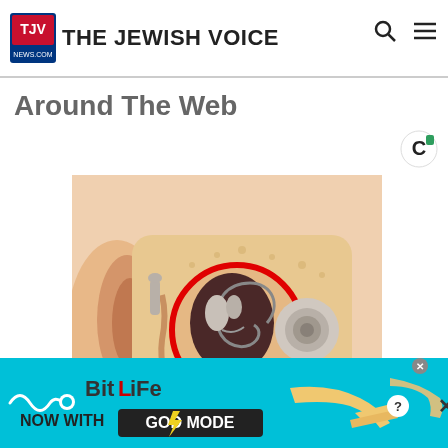THE JEWISH VOICE
Around The Web
[Figure (illustration): Cross-section anatomical illustration of the human ear showing inner ear structures with a red circle highlighting the ossicles/middle ear bones area]
New Hearing Discovery is Leaving Doctors
[Figure (infographic): BitLife advertisement banner: NOW WITH GOD MODE, with pointing hand graphics on a cyan/blue background]